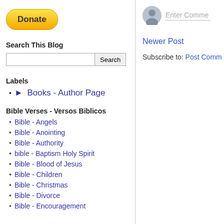[Figure (other): PayPal Donate button, yellow rounded rectangle with bold text]
Search This Blog
Search input box with Search button
Labels
▶ Books - Author Page
Bible Verses - Versos Biblicos
Bible - Angels
Bible - Anointing
Bible - Authority
bible - Baptism Holy Spirit
Bible - Blood of Jesus
Bible - Children
Bible - Christmas
Bible - Divorce
Bible - Encouragement
[Figure (other): User avatar icon (grey silhouette) with Enter Comment placeholder text input]
Newer Post
Subscribe to: Post Comm